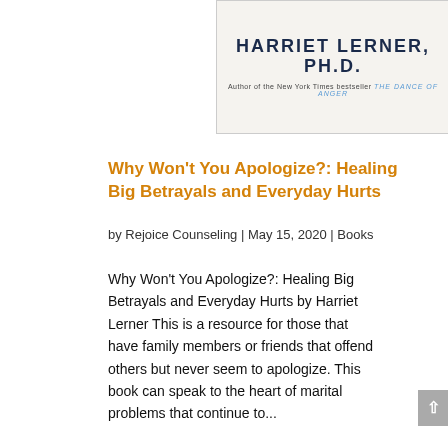[Figure (photo): Top portion of a book cover showing 'HARRIET LERNER, PH.D.' in bold dark blue text with subtitle 'Author of the New York Times bestseller THE DANCE OF ANGER' on a beige/cream background]
Why Won't You Apologize?: Healing Big Betrayals and Everyday Hurts
by Rejoice Counseling | May 15, 2020 | Books
Why Won't You Apologize?: Healing Big Betrayals and Everyday Hurts by Harriet Lerner This is a resource for those that have family members or friends that offend others but never seem to apologize. This book can speak to the heart of marital problems that continue to...
[Figure (photo): Bottom portion of another book cover with dark navy blue background, 'Copyrighted Material' text, and a red rectangular block in the center]